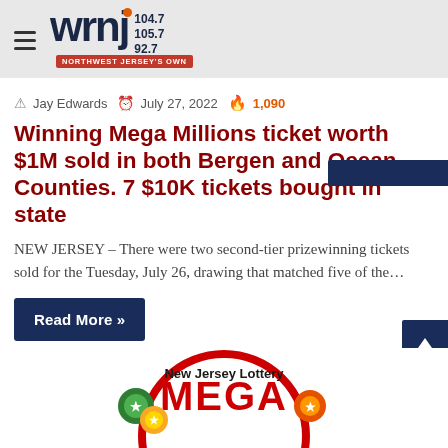wrnj 104.7 105.7 92.7 1510 NORTHWEST JERSEY'S OWN
Jay Edwards  July 27, 2022  1,090
Winning Mega Millions ticket worth $1M sold in both Bergen and Ocean Counties. 7 $10K tickets bought in state
NEW JERSEY – There were two second-tier prizewinning tickets sold for the Tuesday, July 26, drawing that matched five of the…
Read More »
[Figure (logo): New Jersey Lottery Mega Millions logo - circular red border with colorful lottery balls and green/yellow design elements]